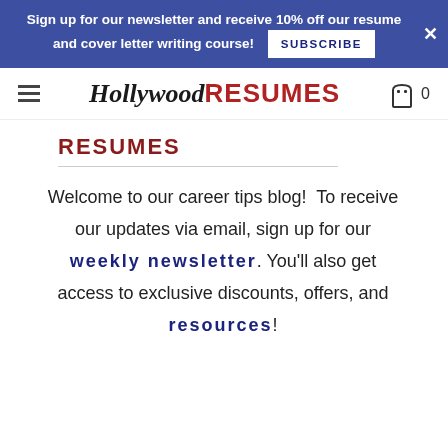Sign up for our newsletter and receive 10% off our resume and cover letter writing course! SUBSCRIBE
[Figure (logo): Hollywood Resumes logo with hamburger menu and cart icon showing 0 items]
RESUMES
Welcome to our career tips blog!  To receive our updates via email, sign up for our weekly newsletter. You'll also get access to exclusive discounts, offers, and resources!